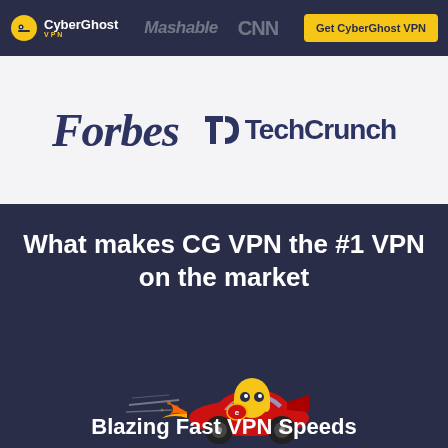CyberGhost VPN | Mashable | CNN | Get CyberGhost VPN
[Figure (logo): Forbes and TechCrunch logos on light grey background]
What makes CG VPN the #1 VPN on the market
[Figure (illustration): CyberGhost mascot (yellow ghost character) riding a red racing car with speed flames]
Blazing Fast VPN Speeds